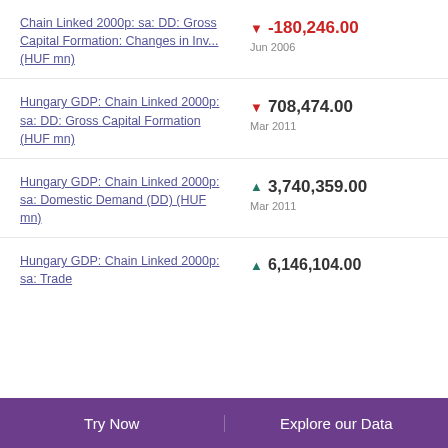Chain Linked 2000p: sa: DD: Gross Capital Formation: Changes in Inv... (HUF mn)
Hungary GDP: Chain Linked 2000p: sa: DD: Gross Capital Formation (HUF mn)
Hungary GDP: Chain Linked 2000p: sa: Domestic Demand (DD) (HUF mn)
Hungary GDP: Chain Linked 2000p: sa: Trade...
Try Now  |  Explore our Data